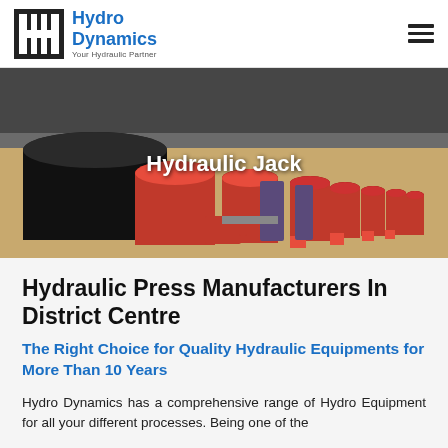Hydro Dynamics — Your Hydraulic Partner
[Figure (photo): Photo of multiple red and black hydraulic jacks of various sizes arranged on a wooden surface, with text overlay 'Hydraulic Jack']
Hydraulic Press Manufacturers In District Centre
The Right Choice for Quality Hydraulic Equipments for More Than 10 Years
Hydro Dynamics has a comprehensive range of Hydro Equipment for all your different processes. Being one of the